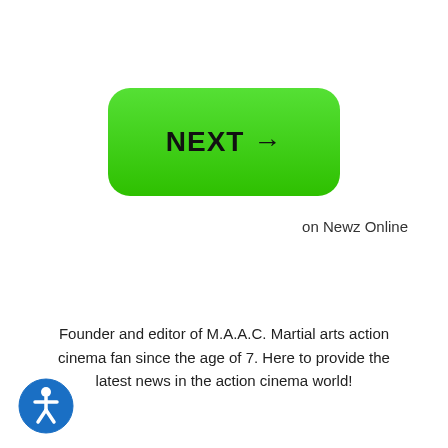[Figure (other): Green rounded button with bold text NEXT and right arrow]
on Newz Online
Founder and editor of M.A.A.C. Martial arts action cinema fan since the age of 7. Here to provide the latest news in the action cinema world!
[Figure (other): Blue circular accessibility icon (wheelchair figure in circle)]